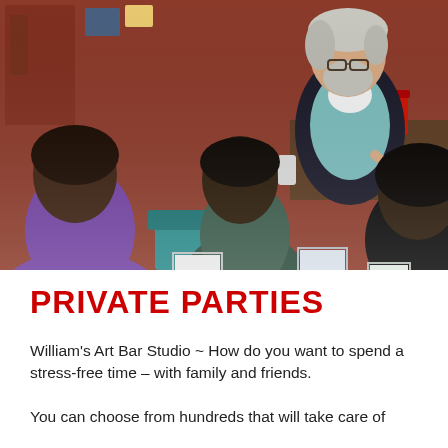[Figure (photo): Indoor painting class scene: an older man with white hair and beard wearing a black apron over a teal shirt stands instructing participants seated at easels with canvases. Several women are visible painting. The room has reddish-brown walls with art on them.]
PRIVATE PARTIES
William's Art Bar Studio ~ How do you want to spend a stress-free time – with family and friends.
You can choose from hundreds that will take care of